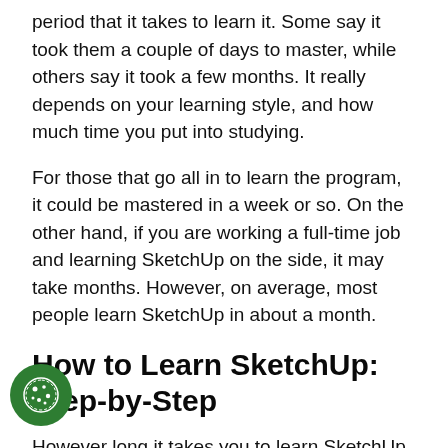period that it takes to learn it. Some say it took them a couple of days to master, while others say it took a few months. It really depends on your learning style, and how much time you put into studying.
For those that go all in to learn the program, it could be mastered in a week or so. On the other hand, if you are working a full-time job and learning SketchUp on the side, it may take months. However, on average, most people learn SketchUp in about a month.
How to Learn SketchUp: Step-by-Step
However long it takes you to learn SketchUp, you should start your journey by following these easy s. You can always customize this process by adding more steps, but these should be your